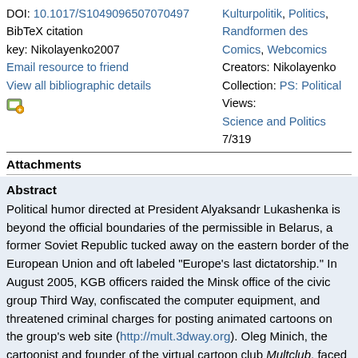DOI: 10.1017/S1049096507070497   Kulturpolitik, Politics, BibTeX citation key: Nikolayenko2007   Randformen des Comics, Webcomics   Email resource to friend   Creators: Nikolayenko   View all bibliographic details   Collection: PS: Political Science and Politics   Views: 7/319
Attachments
Abstract
Political humor directed at President Alyaksandr Lukashenka is beyond the official boundaries of the permissible in Belarus, a former Soviet Republic tucked away on the eastern border of the European Union and oft labeled "Europe's last dictatorship." In August 2005, KGB officers raided the Minsk office of the civic group Third Way, confiscated the computer equipment, and threatened criminal charges for posting animated cartoons on the group's web site (http://mult.3dway.org). Oleg Minich, the cartoonist and founder of the virtual cartoon club Multclub, faced imprisonment of up to five years. His alleged crime falls under Article 367 of the Criminal Code, "Defamation of the